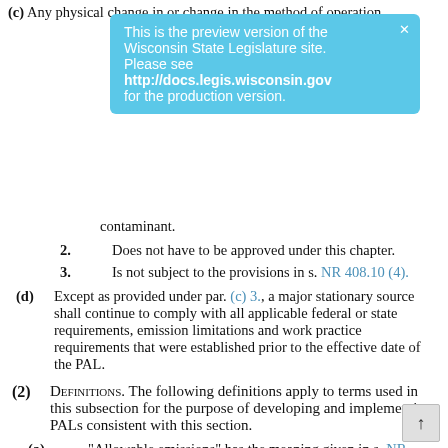(c) Any physical change in or change in the method of operation
[Figure (screenshot): Preview banner: 'This is the preview version of the Wisconsin State Legislature site. Please see http://docs.legis.wisconsin.gov for the production version.']
contaminant.
2. Does not have to be approved under this chapter.
3. Is not subject to the provisions in s. NR 408.10 (4).
(d) Except as provided under par. (c) 3., a major stationary source shall continue to comply with all applicable federal or state requirements, emission limitations and work practice requirements that were established prior to the effective date of the PAL.
(2) Definitions. The following definitions apply to terms used in this subsection for the purpose of developing and implementing PALs consistent with this section.
(a) "Allowable emissions" has the meaning given in s. NR 408.02 (2), except as this definition is modified according to both of the following:
1. The allowable emissions for any emissions unit shall be calculated considering any emission limitations that are enforceable as a practical matter on the emissions unit's potential to emit.